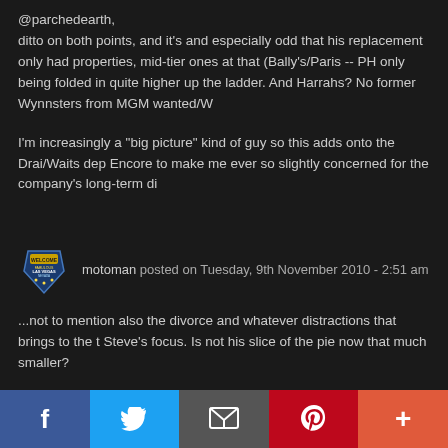@parchedearth,
ditto on both points, and it's and especially odd that his replacement only had properties, mid-tier ones at that (Bally's/Paris -- PH only being folded in quite higher up the ladder. And Harrahs? No former Wynnsters from MGM wanted/w
I'm increasingly a "big picture" kind of guy so this adds onto the Drai/Waits dep Encore to make me ever so slightly concerned for the company's long-term di
motoman posted on Tuesday, 9th November 2010 - 2:51 am
...not to mention also the divorce and whatever distractions that brings to the t Steve's focus. Is not his slice of the pie now that much smaller?
koalition posted on Tuesday, 9th November 2010 - 8:48 am